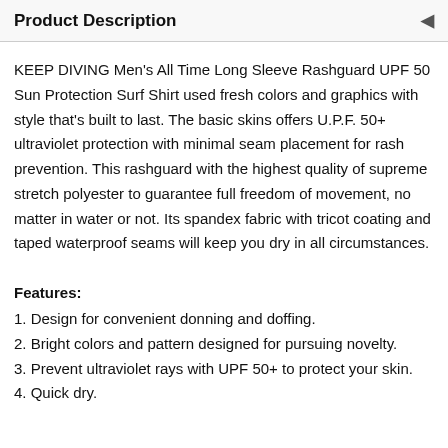Product Description
KEEP DIVING Men's All Time Long Sleeve Rashguard UPF 50 Sun Protection Surf Shirt used fresh colors and graphics with style that's built to last. The basic skins offers U.P.F. 50+ ultraviolet protection with minimal seam placement for rash prevention. This rashguard with the highest quality of supreme stretch polyester to guarantee full freedom of movement, no matter in water or not. Its spandex fabric with tricot coating and taped waterproof seams will keep you dry in all circumstances.
Features:
1. Design for convenient donning and doffing.
2. Bright colors and pattern designed for pursuing novelty.
3. Prevent ultraviolet rays with UPF 50+ to protect your skin.
4. Quick dry.